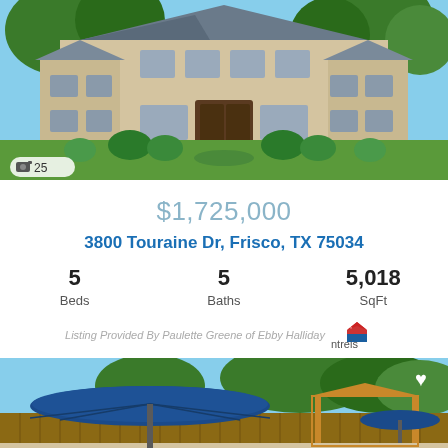[Figure (photo): Exterior front view of a large brick two-story house with manicured lawn, hedges, trees, and a walkway leading to double front doors. Camera icon with '25' photo count shown in bottom left.]
$1,725,000
3800 Touraine Dr, Frisco, TX 75034
5 Beds   5 Baths   5,018 SqFt
Listing Provided By Paulette Greene of Ebby Halliday ntreis
[Figure (photo): Backyard patio area with a large navy blue umbrella, a wooden pergola/gazebo structure, fence, and trees in background. Heart icon in upper right corner.]